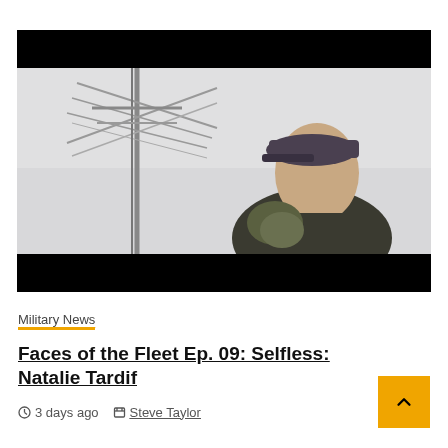[Figure (photo): Video thumbnail showing a female Navy sailor wearing a dark baseball cap and military gear, looking upward. A Navy ship mast and rigging are visible in the background. The image has black letterbox bars on top and bottom.]
Military News
Faces of the Fleet Ep. 09: Selfless: Natalie Tardif
3 days ago   Steve Taylor